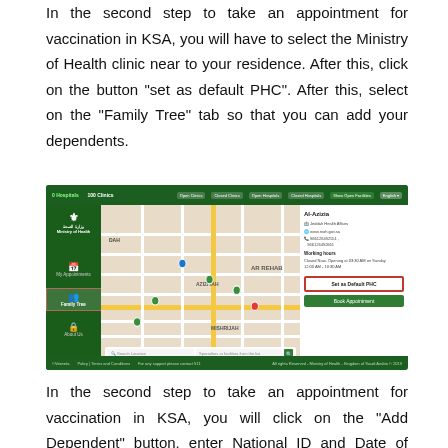In the second step to take an appointment for vaccination in KSA, you will have to select the Ministry of Health clinic near to your residence. After this, click on the button "set as default PHC". After this, select on the "Family Tree" tab so that you can add your dependents.
[Figure (screenshot): Screenshot of Ministry of Health (Saudi Arabia) website showing a map interface with clinic locations, sidebar menu with My Appointments and Family Tree options highlighted, info panel for Al-Azizia clinic, Set as Default PHC button highlighted in red, and Book Appointment button.]
In the second step to take an appointment for vaccination in KSA, you will click on the "Add Dependent" button, enter National ID and Date of Birth and click on Proceed button